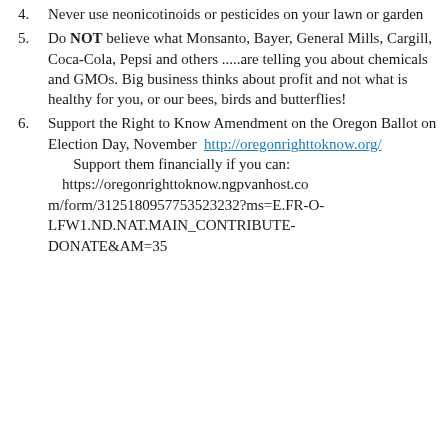4. Never use neonicotinoids or pesticides on your lawn or garden
5. Do NOT believe what Monsanto, Bayer, General Mills, Cargill, Coca-Cola, Pepsi and others .....are telling you about chemicals and GMOs. Big business thinks about profit and not what is healthy for you, or our bees, birds and butterflies!
6. Support the Right to Know Amendment on the Oregon Ballot on Election Day, November  http://oregonrighttoknow.org/  Support them financially if you can: https://oregonrighttoknow.ngpvanhost.com/form/3125180957753523232?ms=E.FR-O-LFW1.ND.NAT.MAIN_CONTRIBUTE-DONATE&AM=35